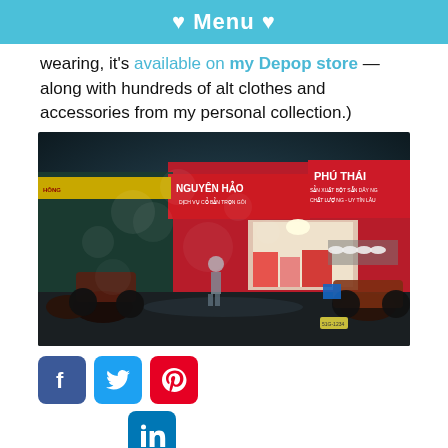♥ Menu ♥
wearing, it's available on my Depop store — along with hundreds of alt clothes and accessories from my personal collection.)
[Figure (photo): Night street scene in Vietnam showing a shop with Vietnamese signage reading 'NGUYÊN HẢO' and 'PHÚ THÁI', with motorcycles parked outside, stacked goods, and a person walking on a wet cobblestone street.]
[Figure (logo): Row of social media icons: Facebook (blue), Twitter (light blue), Pinterest (red), and LinkedIn (blue).]